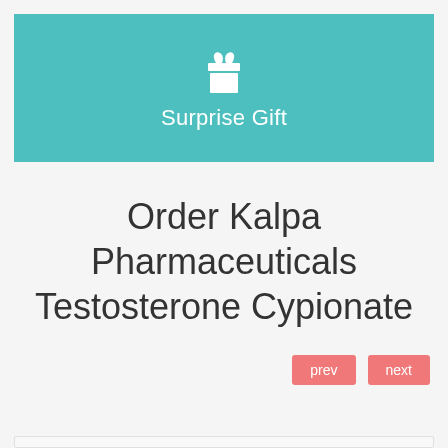[Figure (infographic): Teal/turquoise banner with a white gift box icon and the text 'Surprise Gift' in white below it]
Order Kalpa Pharmaceuticals Testosterone Cypionate
prev   next